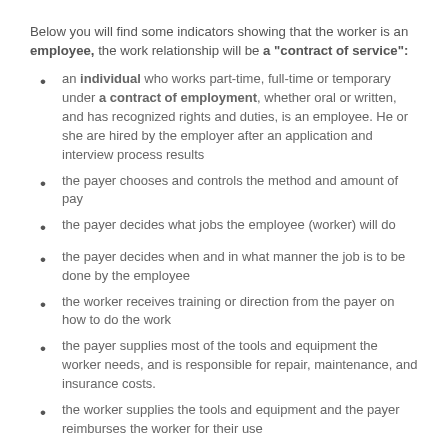Below you will find some indicators showing that the worker is an employee, the work relationship will be a "contract of service":
an individual who works part-time, full-time or temporary under a contract of employment, whether oral or written, and has recognized rights and duties, is an employee. He or she are hired by the employer after an application and interview process results
the payer chooses and controls the method and amount of pay
the payer decides what jobs the employee (worker) will do
the payer decides when and in what manner the job is to be done by the employee
the worker receives training or direction from the payer on how to do the work
the payer supplies most of the tools and equipment the worker needs, and is responsible for repair, maintenance, and insurance costs.
the worker supplies the tools and equipment and the payer reimburses the worker for their use